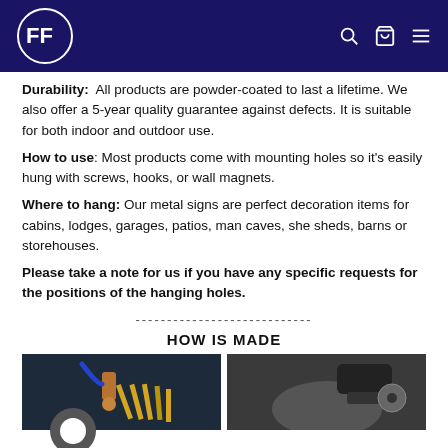AF [logo] navigation header with search, cart, menu icons
Durability: All products are powder-coated to last a lifetime. We also offer a 5-year quality guarantee against defects. It is suitable for both indoor and outdoor use.
How to use: Most products come with mounting holes so it's easily hung with screws, hooks, or wall magnets.
Where to hang: Our metal signs are perfect decoration items for cabins, lodges, garages, patios, man caves, she sheds, barns or storehouses.
Please take a note for us if you have any specific requests for the positions of the hanging holes.
----------------------------
HOW IS MADE
[Figure (photo): Two manufacturing process photos: left shows laser cutting equipment with copper nozzle and blue tube; right shows a gloved hand holding a power tool/angle grinder on metal.]